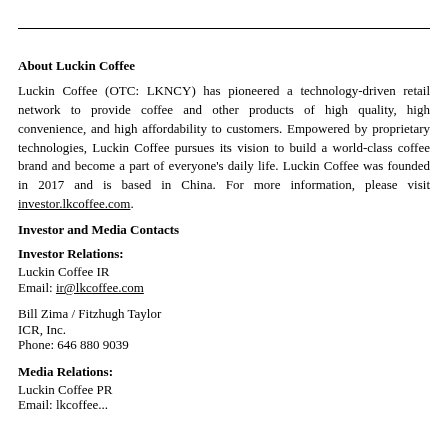About Luckin Coffee
Luckin Coffee (OTC: LKNCY) has pioneered a technology-driven retail network to provide coffee and other products of high quality, high convenience, and high affordability to customers. Empowered by proprietary technologies, Luckin Coffee pursues its vision to build a world-class coffee brand and become a part of everyone’s daily life. Luckin Coffee was founded in 2017 and is based in China. For more information, please visit investor.lkcoffee.com.
Investor and Media Contacts
Investor Relations:
Luckin Coffee IR
Email: ir@lkcoffee.com
Bill Zima / Fitzhugh Taylor
ICR, Inc.
Phone: 646 880 9039
Media Relations:
Luckin Coffee PR
Email: lkcoffee...